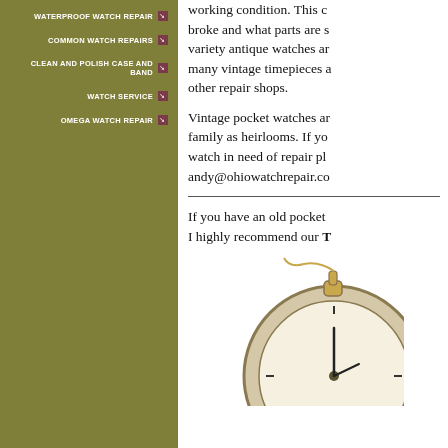WATERPROOF WATCH REPAIR
COMMON WATCH REPAIRS
CLEAN AND POLISH CASE AND BAND
WATCH SERVICE
OMEGA WATCH REPAIR
working condition. This c broke and what parts are s variety antique watches ar many vintage timepieces a other repair shops.
Vintage pocket watches ar family as heirlooms. If yo watch in need of repair pl andy@ohiowatchrepair.co
If you have an old pocket I highly recommend our T
[Figure (photo): Vintage pocket watch photograph, partially visible at bottom right of page]